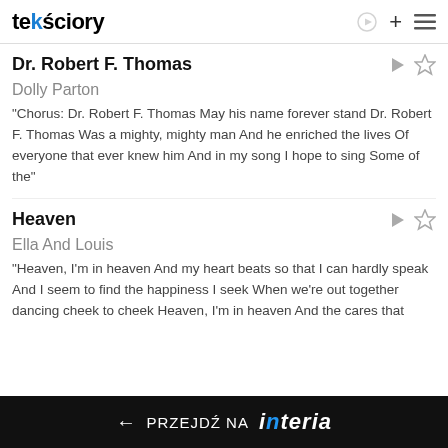tekściory
Dr. Robert F. Thomas
Dolly Parton
"Chorus: Dr. Robert F. Thomas May his name forever stand Dr. Robert F. Thomas Was a mighty, mighty man And he enriched the lives Of everyone that ever knew him And in my song I hope to sing Some of the"
Heaven
Ella And Louis
"Heaven, I'm in heaven And my heart beats so that I can hardly speak And I seem to find the happiness I seek When we're out together dancing cheek to cheek Heaven, I'm in heaven And the cares that
← PRZEJDŹ NA interia